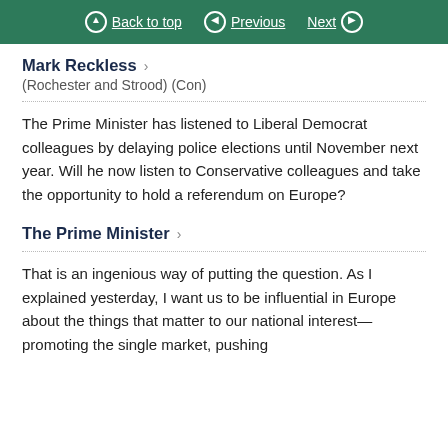Back to top | Previous | Next
Mark Reckless
(Rochester and Strood) (Con)
The Prime Minister has listened to Liberal Democrat colleagues by delaying police elections until November next year. Will he now listen to Conservative colleagues and take the opportunity to hold a referendum on Europe?
The Prime Minister
That is an ingenious way of putting the question. As I explained yesterday, I want us to be influential in Europe about the things that matter to our national interest—promoting the single market, pushing